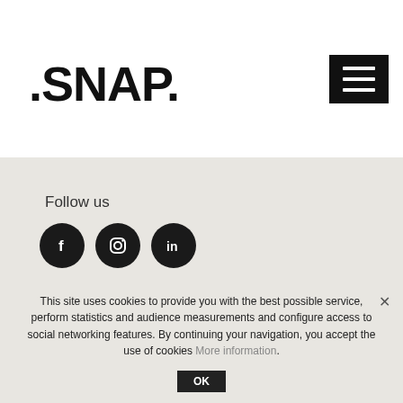[Figure (logo): SNAP. logo in bold black text]
[Figure (illustration): Dark hamburger menu button (three white lines on black background)]
Follow us
[Figure (illustration): Three circular social media icons: Facebook (f), Instagram (camera), LinkedIn (in)]
[Figure (logo): SNAP logo in red/dark red bold font in footer area]
This site uses cookies to provide you with the best possible service, perform statistics and audience measurements and configure access to social networking features. By continuing your navigation, you accept the use of cookies More information.
OK